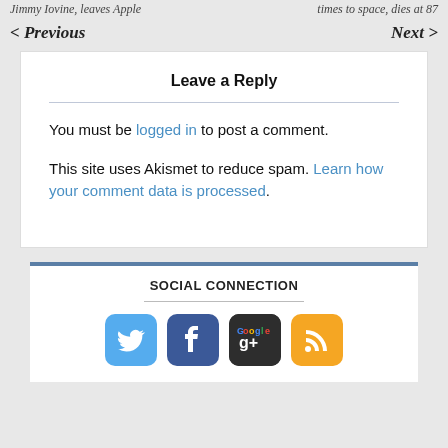Jimmy Iovine, leaves Apple | times to space, dies at 87
< Previous
Next >
Leave a Reply
You must be logged in to post a comment.
This site uses Akismet to reduce spam. Learn how your comment data is processed.
SOCIAL CONNECTION
[Figure (other): Social media icons: Twitter, Facebook, Google+, RSS]